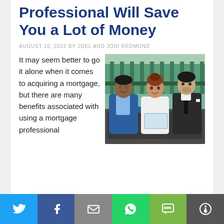Professional Will Save You a Lot of Money
AUGUST 10, 2022 BY JOEL AND JODI REDMOND
[Figure (photo): Three professionals sitting together, one holding a tablet, smiling and discussing mortgage or financial matters.]
It may seem better to go it alone when it comes to acquiring a mortgage, but there are many benefits associated with using a mortgage professional